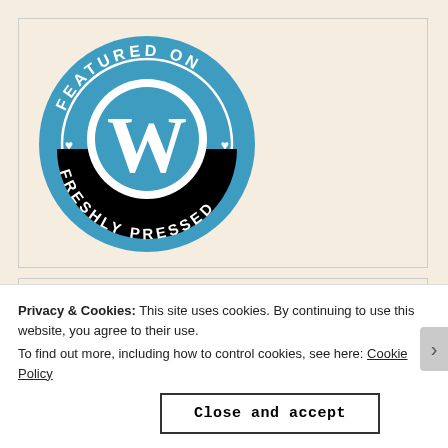[Figure (logo): WordPress 'Featured on Freshly Pressed' circular badge in blue with white W logo and text around the border]
[Figure (logo): Bloggers WINNER rubber stamp in purple/violet, circular with dashed border]
Privacy & Cookies: This site uses cookies. By continuing to use this website, you agree to their use.
To find out more, including how to control cookies, see here: Cookie Policy
Close and accept